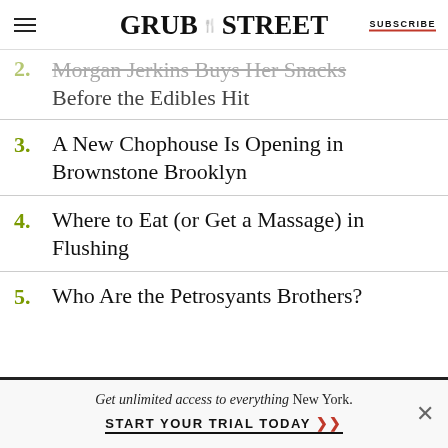GRUB STREET | SUBSCRIBE
2. Morgan Jerkins Buys Her Snacks Before the Edibles Hit
3. A New Chophouse Is Opening in Brownstone Brooklyn
4. Where to Eat (or Get a Massage) in Flushing
5. Who Are the Petrosyants Brothers?
Get unlimited access to everything New York. START YOUR TRIAL TODAY